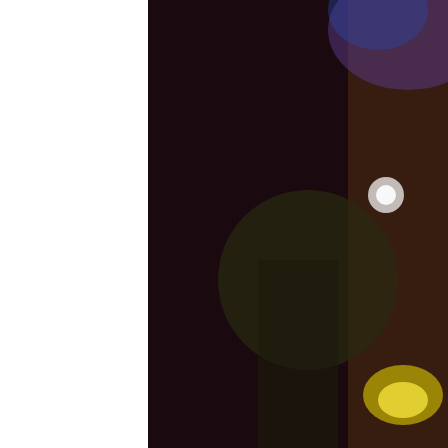[Figure (photo): Event venue/gala hall with stage lighting — purple and warm lights, curtains, runway/aisle — serving as full-page background image. White strip on far left. Dark semi-transparent overlay on text area.]
mothers and fathers and other couples who hope to marry and form a union and possibly raise a family someday.
We also hold a Father-Daughter Gala and a Mother-Son Formal to carry on long-standing American tradition of